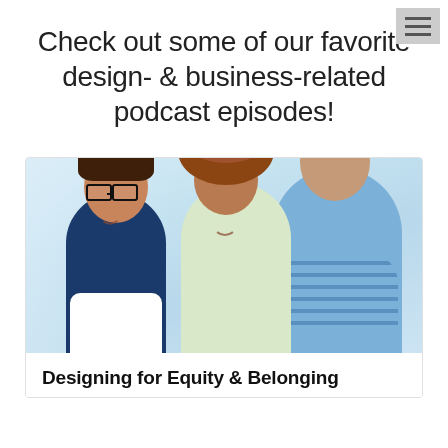Check out some of our favorite design- & business-related podcast episodes!
[Figure (photo): Three people — two women and a man — smiling and having a conversation, with a bright office/window background.]
Designing for Equity & Belonging